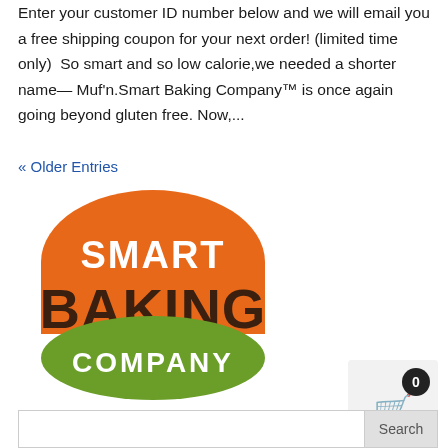Enter your customer ID number below and we will email you a free shipping coupon for your next order! (limited time only)  So smart and so low calorie,we needed a shorter name— Muf'n.Smart Baking Company™ is once again going beyond gluten free. Now,...
« Older Entries
[Figure (logo): Smart Baking Company logo: orange semicircle on top with white text 'SMART', dark brown bold text 'BAKING' in the middle, and green semicircle on bottom with white text 'COMPANY']
[Figure (other): Shopping cart widget with badge showing 0 and cart icon on gray background]
Search